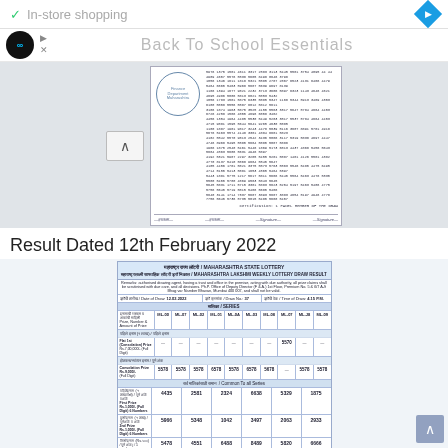✓ In-store shopping
Back To School Essentials
[Figure (other): Maharashtra State Lottery draw result document with official stamp and columns of lottery numbers]
Result Dated 12th February 2022
| Series/Prize Category | ML-00 | ML-07 | ML-02 | ML-01 | ML-04 | ML-03 | ML-08 | ML-07 | ML-05 | ML-09 |
| --- | --- | --- | --- | --- | --- | --- | --- | --- | --- | --- |
| 1st Consolidated Prize Rs.7,00,000 (Full Digit) | -- | -- | -- | -- | -- | -- | -- | 5570 | -- | -- |
| Consolation Prize Rs.9,000 (Full Digit) | 5578 | 5578 | 5578 | 6578 | 5578 | 6578 | 5678 | -- | 5578 | 5578 |
| 1st Prize Rs.1,000 (Full Digit) 6 Numbers | 4435 | 2581 | 2324 | 6638 | 5329 | 1875 |  |  |  |  |
| 2nd Prize Rs.1,000 (Full Digit) 6 Numbers | 5966 | 5348 | 1042 | 3497 | 2063 | 2933 |  |  |  |  |
| 3rd Prize Rs.500 (Full Digit) 1 Number | 5478 | 4551 | 6488 | 8489 | 5820 | 6666 |  |  |  |  |
| 4th Prize Rs.100 (Full Digit) 1 Number | 5457 | 6409 | 1473 | 4000 | 8173 | 5597 |  |  |  |  |
6th Prize Rs.100, Rs.8 random Main series (Full Digit) - Common to all Series